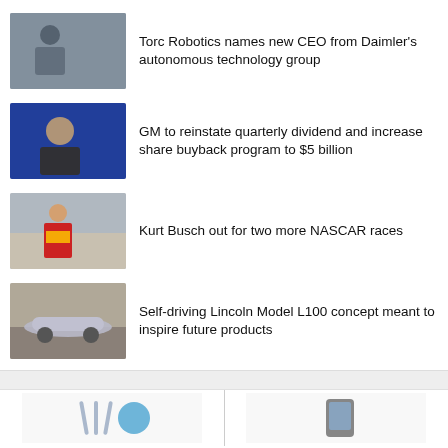[Figure (photo): Man with arms crossed standing in front of a vehicle]
Torc Robotics names new CEO from Daimler's autonomous technology group
[Figure (photo): Woman speaking at a conference with blue background]
GM to reinstate quarterly dividend and increase share buyback program to $5 billion
[Figure (photo): NASCAR driver in red McDonald's racing suit]
Kurt Busch out for two more NASCAR races
[Figure (photo): Self-driving Lincoln Model L100 concept car on road]
Self-driving Lincoln Model L100 concept meant to inspire future products
[Figure (photo): Bottom left panel with logo/icon]
[Figure (photo): Bottom right panel with device/product image]